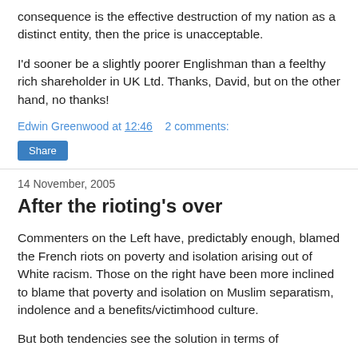consequence is the effective destruction of my nation as a distinct entity, then the price is unacceptable.
I'd sooner be a slightly poorer Englishman than a feelthy rich shareholder in UK Ltd. Thanks, David, but on the other hand, no thanks!
Edwin Greenwood at 12:46   2 comments:
Share
14 November, 2005
After the rioting's over
Commenters on the Left have, predictably enough, blamed the French riots on poverty and isolation arising out of White racism. Those on the right have been more inclined to blame that poverty and isolation on Muslim separatism, indolence and a benefits/victimhood culture.
But both tendencies see the solution in terms of